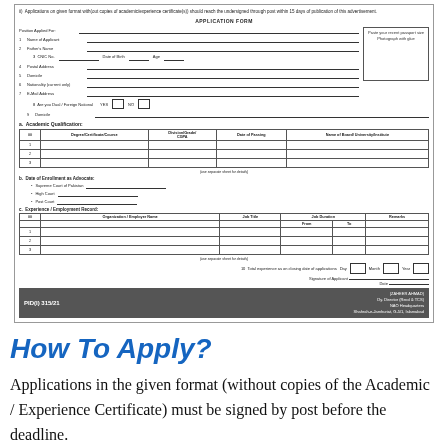[Figure (other): Government job application form with fields for personal information, academic qualifications, date of enrollment as advocate, experience/employment record, signature, and date boxes. Footer bar shows PID(I) 315/21 and ZAHEER AHMAD, Dy. Director (Recd & TCS), NAO Headquarters, Shahrah-e-Jamhuriat, G-5/1, Islamabad.]
How To Apply?
Applications in the given format (without copies of the Academic / Experience Certificate) must be signed by post before the deadline.